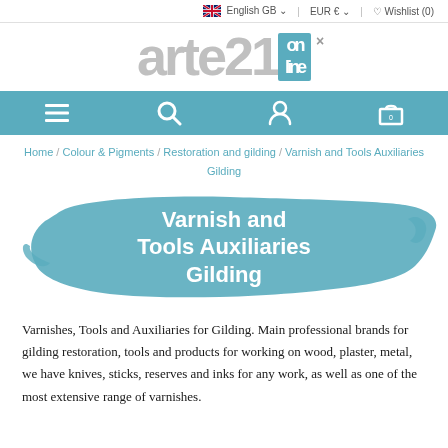English GB  EUR €  Wishlist (0)
[Figure (logo): arte21 online logo in gray and teal]
[Figure (other): Navigation bar with hamburger menu, search, user, and cart icons on teal background]
Home / Colour & Pigments / Restoration and gilding / Varnish and Tools Auxiliaries Gilding
[Figure (illustration): Teal brush stroke banner with text: Varnish and Tools Auxiliaries Gilding]
Varnishes, Tools and Auxiliaries for Gilding. Main professional brands for gilding restoration, tools and products for working on wood, plaster, metal, we have knives, sticks, reserves and inks for any work, as well as one of the most extensive range of varnishes.